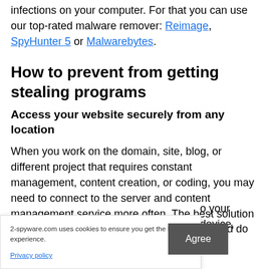infections on your computer. For that you can use our top-rated malware remover: Reimage, SpyHunter 5 or Malwarebytes.
How to prevent from getting stealing programs
Access your website securely from any location
When you work on the domain, site, blog, or different project that requires constant management, content creation, or coding, you may need to connect to the server and content management service more often. The best solution for creating a tighter network could be a dedicated/fixed IP
2-spyware.com uses cookies to ensure you get the best experience.
Privacy policy
Agree
o your device, on and do not